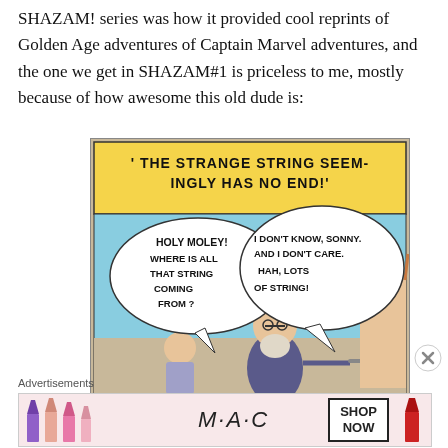SHAZAM! series was how it provided cool reprints of Golden Age adventures of Captain Marvel adventures, and the one we get in SHAZAM#1 is priceless to me, mostly because of how awesome this old dude is:
[Figure (illustration): Comic book panel showing an old bearded man with speech bubbles. Top caption reads 'THE STRANGE STRING SEEMINGLY HAS NO END!' Left speech bubble: 'HOLY MOLEY! WHERE IS ALL THAT STRING COMING FROM?' Right speech bubble: 'I DON'T KNOW, SONNY. AND I DON'T CARE. HAH, LOTS OF STRING!']
Advertisements
[Figure (photo): MAC Cosmetics advertisement banner showing colorful lipsticks on left, MAC logo in center, SHOP NOW box on right, and a red lipstick on far right.]